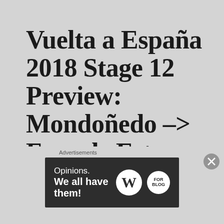Vuelta a España 2018 Stage 12 Preview: Mondoñedo -> Faro de Estaca de Bares. Mañón
Today's Recap
A manic day in the saddle where the race was 3km/h
Advertisements
[Figure (other): WordPress advertisement banner reading 'Opinions. We all have them!' with WordPress logo and another circular logo on dark background]